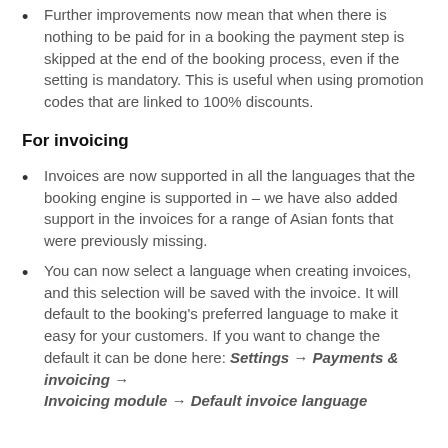Further improvements now mean that when there is nothing to be paid for in a booking the payment step is skipped at the end of the booking process, even if the setting is mandatory. This is useful when using promotion codes that are linked to 100% discounts.
For invoicing
Invoices are now supported in all the languages that the booking engine is supported in – we have also added support in the invoices for a range of Asian fonts that were previously missing.
You can now select a language when creating invoices, and this selection will be saved with the invoice. It will default to the booking's preferred language to make it easy for your customers. If you want to change the default it can be done here: Settings → Payments & invoicing → Invoicing module → Default invoice language